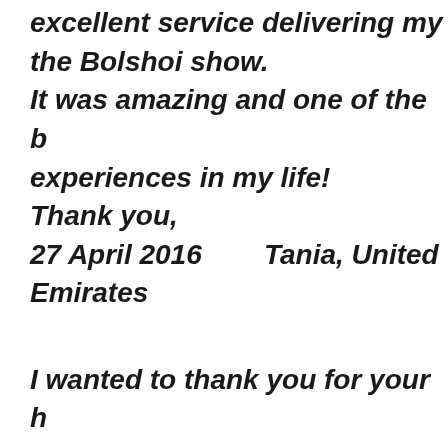excellent service delivering my the Bolshoi show. It was amazing and one of the b experiences in my life! Thank you, 27 April 2016        Tania, United Emirates
I wanted to thank you for your h